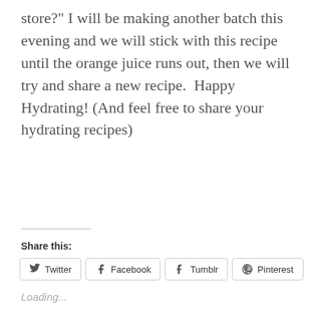store?" I will be making another batch this evening and we will stick with this recipe until the orange juice runs out, then we will try and share a new recipe.  Happy Hydrating! (And feel free to share your hydrating recipes)
Share this:
Twitter  Facebook  Tumblr  Pinterest
Loading...
Privacy & Cookies: This site uses cookies. By continuing to use this website, you agree to their use.
To find out more, including how to control cookies, see here: Cookie Policy
Close and accept